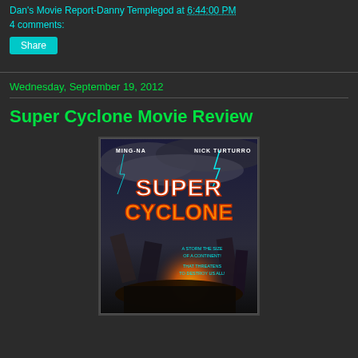Dan's Movie Report-Danny Templegod at 6:44:00 PM
4 comments:
Share
Wednesday, September 19, 2012
Super Cyclone Movie Review
[Figure (photo): Movie poster for Super Cyclone featuring actors Ming-Na and Nick Turturro, with large stylized text SUPER CYCLONE over a disaster scene with explosions, lightning, and destroyed buildings. Tagline: A STORM THE SIZE OF A CONTINENT! THAT THREATENS TO DESTROY US ALL!]